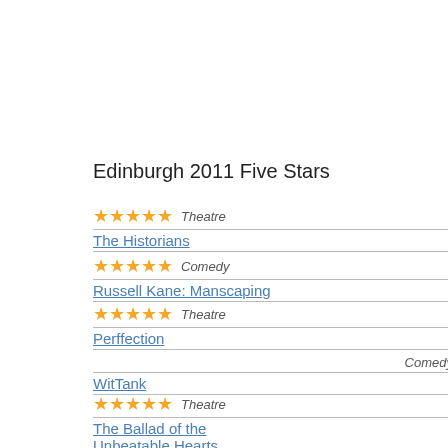Reviewed
14 Recommended for age 14+ only
Edinburgh 2011 Five Stars
★★★★★ Theatre
The Historians
★★★★★ Comedy
Russell Kane: Manscaping
★★★★★ Theatre
Perffection
Comedy
WitTank
★★★★★ Theatre
The Ballad of the Unbeatable Hearts
★★★★★ Comedy
Phil Nichol: The Simple Hour
★★★★★ Theatre
Oedipus by Steven Berkoff
Steve Hall begins with what is, essential wonders if this is because we have a lo wonders if we are purposely messing wi wasn't very funny. It's not a very good s
Hall, from the sketch group We Are Klar then a hold-up with her visa – she's Aus about this, but he doesn't really do anyth sure it was was all a very big deal for th don't know.
A lot of Hall's jokes rely on recounting fu Some of the things his dad says are wei these remarks, but distancing himself fo about 'getting bummed' are pretty lazy, e
In fact, so much material in the show re time could have been saved if he had ju other, hopefully more original, topics.